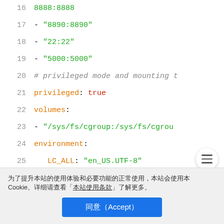[Figure (screenshot): Code editor screenshot showing YAML/Docker configuration lines 16-30. Lines include port mappings (8888:8888, 8890:8890, 22:22, 5000:5000), privileged mode, volumes, environment variables (LC_ALL and LANG set to en_US.UTF-8), healthcheck section with comments and test command starting with systemctl is-active.]
为了提升本站的使用体验和必要功能的正常使用，本站会使用本
Cookie。详细请查看「本站使用条款」了解更多。
同意（Accept）